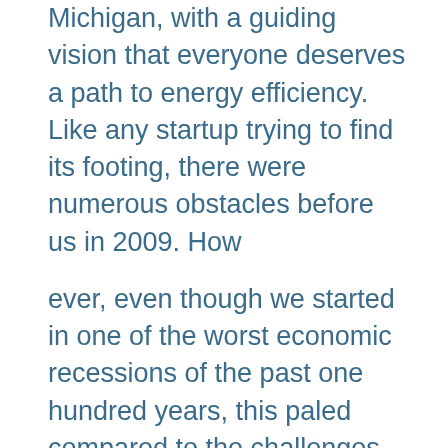Michigan, with a guiding vision that everyone deserves a path to energy efficiency. Like any startup trying to find its footing, there were numerous obstacles before us in 2009. How ever, even though we started in one of the worst economic recessions of the past one hundred years, this paled compared to the challenges before us as a minority enterprise. As any minority business owner can tell you, the hill is higher, steeper to climb, and goes on longer. Nevertheless, for the past twelve-plus years, SEEL has excelled in its role as a new entrant to the energy efficiency (EE) marketplace. We have developed a portfolio of work of